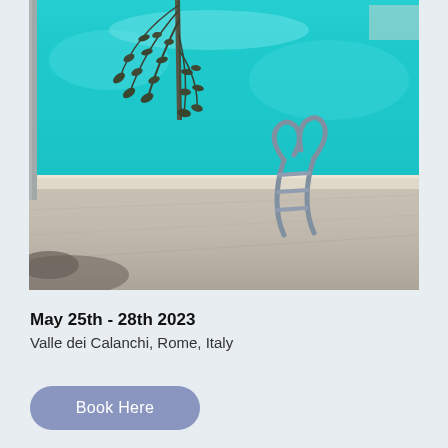[Figure (photo): Outdoor swimming pool with bright turquoise water, light stone/concrete pool surround and deck, willow-like tree branches hanging over the water from the left, and stainless steel pool ladder on the right side. Gravel ground visible in the lower left corner.]
May 25th - 28th 2023
Valle dei Calanchi, Rome, Italy
Book Here